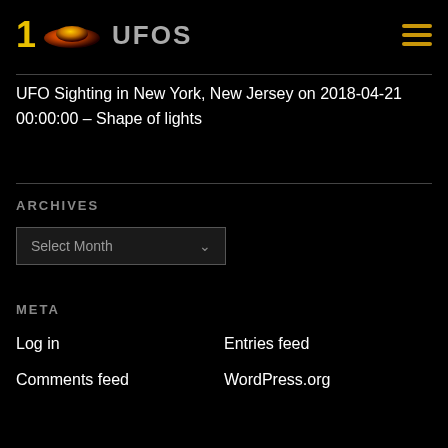1 UFOS
UFO Sighting in New York, New Jersey on 2018-04-21 00:00:00 – Shape of lights
ARCHIVES
Select Month
META
Log in
Entries feed
Comments feed
WordPress.org